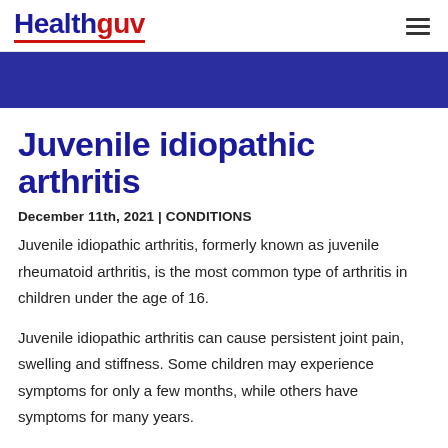Healthguv
Juvenile idiopathic arthritis
December 11th, 2021 | CONDITIONS
Juvenile idiopathic arthritis, formerly known as juvenile rheumatoid arthritis, is the most common type of arthritis in children under the age of 16.
Juvenile idiopathic arthritis can cause persistent joint pain, swelling and stiffness. Some children may experience symptoms for only a few months, while others have symptoms for many years.